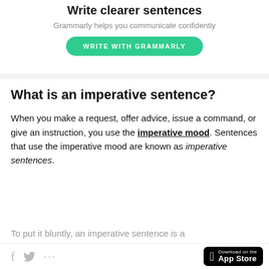Write clearer sentences
Grammarly helps you communicate confidently
[Figure (other): Green pill-shaped button with text WRITE WITH GRAMMARLY in white uppercase letters]
What is an imperative sentence?
When you make a request, offer advice, issue a command, or give an instruction, you use the imperative mood. Sentences that use the imperative mood are known as imperative sentences.
To put it bluntly, an imperative sentence is a
[Figure (other): Bottom bar with Facebook icon, Twitter icon, share dots icon on left; Download on the App Store badge on right]